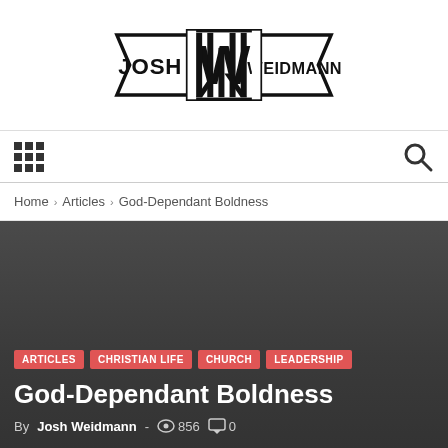[Figure (logo): Josh Weidmann logo with stylized W monogram flanked by the name 'JOSH WEIDMANN' in a banner/pennant style design]
Navigation bar with grid menu icon and search icon
Home › Articles › God-Dependant Boldness
[Figure (photo): Dark gray hero background image for the article]
ARTICLES  CHRISTIAN LIFE  CHURCH  LEADERSHIP
God-Dependant Boldness
By Josh Weidmann -  856   0